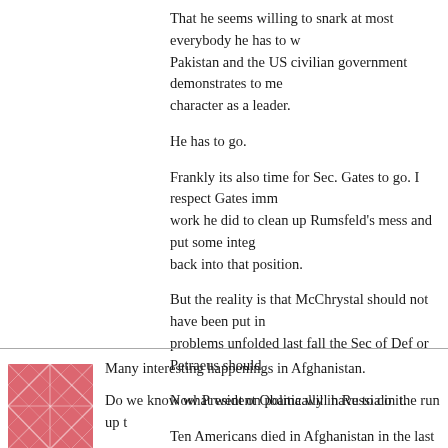That he seems willing to snark at most everybody he has to work with in Pakistan and the US civilian government demonstrates to me a serious flaw in character as a leader.
He has to go.
Frankly its also time for Sec. Gates to go. I respect Gates immensely for the work he did to clean up Rumsfeld's mess and put some integrity back into that position.
But the reality is that McChrystal should not have been put in charge and when problems unfolded last fall the Sec of Def or Petraeus should [...]
Now President Obama will have to do it.
Ten Americans died in Afghanistan in the last few days. I would just think of those families, that got a knock at the door yesterday and who now have to witness McChrystal's insubordination.
Posted by: Brian Hart | 22 June 2010 at 03:28 PM
[Figure (illustration): Red/pink geometric illustration used as avatar for second commenter]
Many interesting happenings in Afghanistan.
Do we know what went on politically in Russia in the run up t[o...]